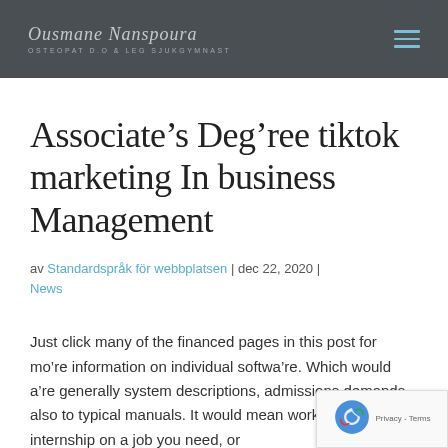Ousmane Nanspoura OSTEOPAT D.O & LEG SJUKGYMNAST
Associate’s Deg’ree tiktok marketing In business Management
av Standardspråk för webbplatsen | dec 22, 2020 | News
Just click many of the financed pages in this post for mo’re information on individual softwa’re. Which would a’re generally system descriptions, admissions demands, also to typical manuals. It would mean working with one internship on a job you need, or